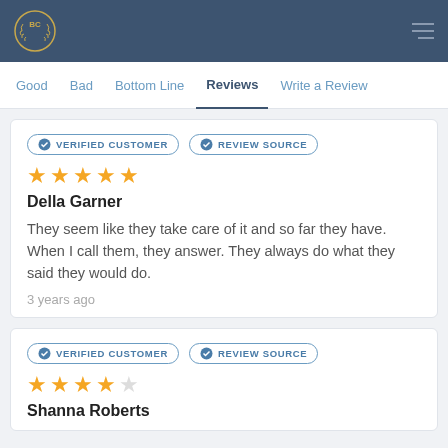BC logo and navigation header
Good  Bad  Bottom Line  Reviews  Write a Review
VERIFIED CUSTOMER  REVIEW SOURCE
★★★★★
Della Garner
They seem like they take care of it and so far they have. When I call them, they answer. They always do what they said they would do.
3 years ago
VERIFIED CUSTOMER  REVIEW SOURCE
★★★★★
Shanna Roberts